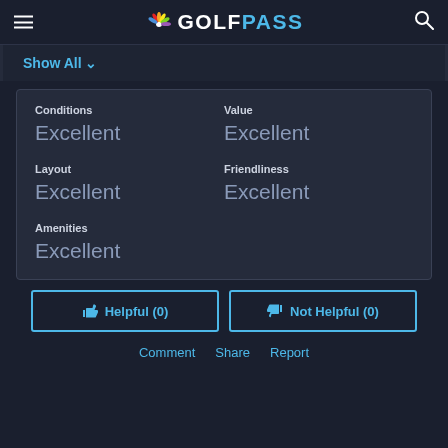GOLFPASS
Show All
| Category | Rating |
| --- | --- |
| Conditions | Excellent |
| Value | Excellent |
| Layout | Excellent |
| Friendliness | Excellent |
| Amenities | Excellent |
Helpful (0)
Not Helpful (0)
Comment  Share  Report